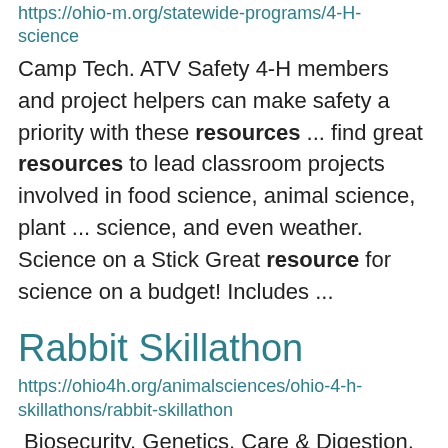https://ohio-m.org/statewide-programs/4-H-science
Camp Tech. ATV Safety 4-H members and project helpers can make safety a priority with these resources ... find great resources to lead classroom projects involved in food science, animal science, plant ... science, and even weather. Science on a Stick Great resource for science on a budget!  Includes ...
Rabbit Skillathon
https://ohio4h.org/animalsciences/ohio-4-h-skillathons/rabbit-skillathon
Biosecurity, Genetics, Care & Digestion, Products   Resources to Study